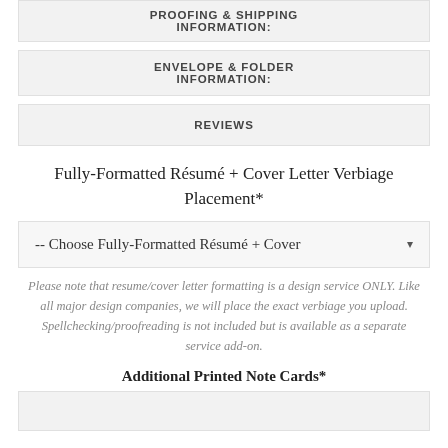PROOFING & SHIPPING INFORMATION:
ENVELOPE & FOLDER INFORMATION:
REVIEWS
Fully-Formatted Résumé + Cover Letter Verbiage Placement*
-- Choose Fully-Formatted Résumé + Cover ▾
Please note that resume/cover letter formatting is a design service ONLY. Like all major design companies, we will place the exact verbiage you upload. Spellchecking/proofreading is not included but is available as a separate service add-on.
Additional Printed Note Cards*